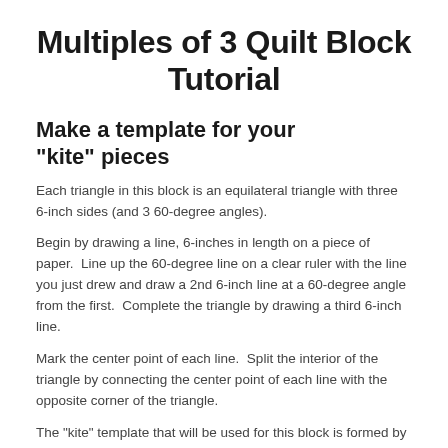Multiples of 3 Quilt Block Tutorial
Make a template for your “kite” pieces
Each triangle in this block is an equilateral triangle with three 6-inch sides (and 3 60-degree angles).
Begin by drawing a line, 6-inches in length on a piece of paper.  Line up the 60-degree line on a clear ruler with the line you just drew and draw a 2nd 6-inch line at a 60-degree angle from the first.  Complete the triangle by drawing a third 6-inch line.
Mark the center point of each line.  Split the interior of the triangle by connecting the center point of each line with the opposite corner of the triangle.
The “kite” template that will be used for this block is formed by two adjacent interior lines that extend from the center point of the